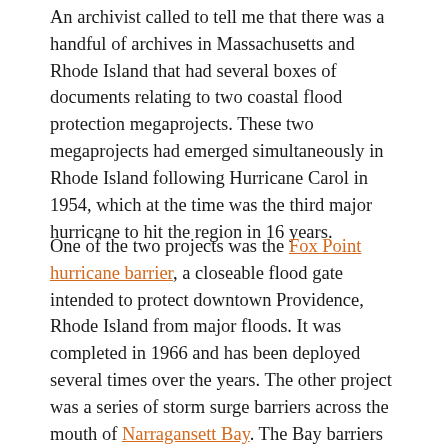An archivist called to tell me that there was a handful of archives in Massachusetts and Rhode Island that had several boxes of documents relating to two coastal flood protection megaprojects. These two megaprojects had emerged simultaneously in Rhode Island following Hurricane Carol in 1954, which at the time was the third major hurricane to hit the region in 16 years.
One of the two projects was the Fox Point hurricane barrier, a closeable flood gate intended to protect downtown Providence, Rhode Island from major floods. It was completed in 1966 and has been deployed several times over the years. The other project was a series of storm surge barriers across the mouth of Narragansett Bay. The Bay barriers ultimately failed to progress beyond the planning stage, after more than ten years of study and deliberation. I thought that if I was able to understand the political and social reasons for these project outcomes, it might offer lessons for other planning endeavors.